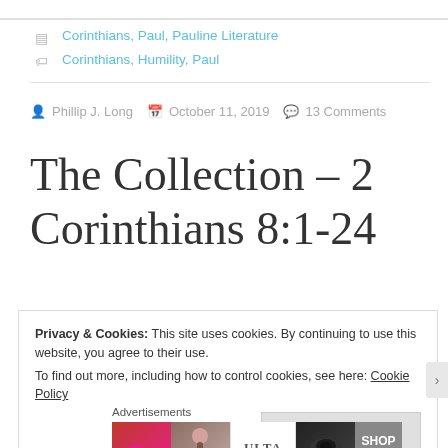Corinthians, Paul, Pauline Literature
Corinthians, Humility, Paul
Phillip J. Long  October 11, 2019  13 Comments
The Collection – 2 Corinthians 8:1-24
Privacy & Cookies: This site uses cookies. By continuing to use this website, you agree to their use.
To find out more, including how to control cookies, see here: Cookie Policy
Close and accept
Advertisements
[Figure (photo): Ulta beauty advertisement banner with makeup images and SHOP NOW call to action]